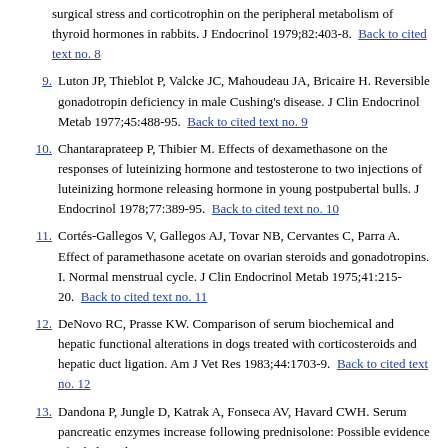surgical stress and corticotrophin on the peripheral metabolism of thyroid hormones in rabbits. J Endocrinol 1979;82:403-8.  Back to cited text no. 8
9. Luton JP, Thieblot P, Valcke JC, Mahoudeau JA, Bricaire H. Reversible gonadotropin deficiency in male Cushing's disease. J Clin Endocrinol Metab 1977;45:488-95.  Back to cited text no. 9
10. Chantaraprateep P, Thibier M. Effects of dexamethasone on the responses of luteinizing hormone and testosterone to two injections of luteinizing hormone releasing hormone in young postpubertal bulls. J Endocrinol 1978;77:389-95.  Back to cited text no. 10
11. Cortés-Gallegos V, Gallegos AJ, Tovar NB, Cervantes C, Parra A. Effect of paramethasone acetate on ovarian steroids and gonadotropins. I. Normal menstrual cycle. J Clin Endocrinol Metab 1975;41:215-20.  Back to cited text no. 11
12. DeNovo RC, Prasse KW. Comparison of serum biochemical and hepatic functional alterations in dogs treated with corticosteroids and hepatic duct ligation. Am J Vet Res 1983;44:1703-9.  Back to cited text no. 12
13. Dandona P, Jungle D, Katrak A, Fonseca AV, Havard CWH. Serum pancreatic enzymes increase following prednisolone: Possible evidence of subclinical